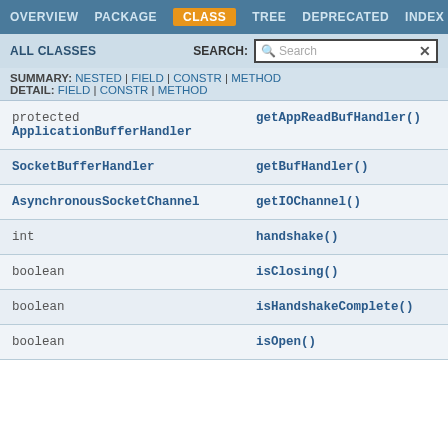OVERVIEW  PACKAGE  CLASS  TREE  DEPRECATED  INDEX
ALL CLASSES    SEARCH:  [Search]
SUMMARY: NESTED | FIELD | CONSTR | METHOD
DETAIL: FIELD | CONSTR | METHOD
| Type | Method |
| --- | --- |
| protected ApplicationBufferHandler | getAppReadBufHandler() |
| SocketBufferHandler | getBufHandler() |
| AsynchronousSocketChannel | getIOChannel() |
| int | handshake() |
| boolean | isClosing() |
| boolean | isHandshakeComplete() |
| boolean | isOpen() |